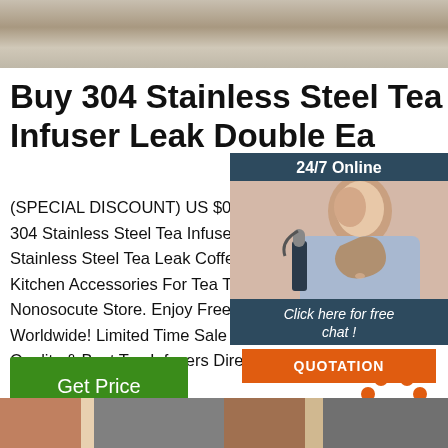[Figure (photo): Top photo showing gravel/stone texture with wooden objects]
Buy 304 Stainless Steel Tea Infuser Leak Double Ea
(SPECIAL DISCOUNT) US $0.71 34% O 304 Stainless Steel Tea Infuser Leak Do Stainless Steel Tea Leak Coffee Leak Te Kitchen Accessories For Tea Tool From S Nonosocute Store. Enjoy Free Shipping Worldwide! Limited Time Sale Easy Retu Quality & Best Tea Infusers Directly Fro Tea Infusers Suppliers.
[Figure (photo): Chat widget with 24/7 Online label, woman with headset, Click here for free chat, and QUOTATION button]
[Figure (other): Get Price green button]
[Figure (logo): TOP logo with orange dots forming triangle above orange TOP text]
[Figure (photo): Bottom photo strip showing product images of tea infusers]